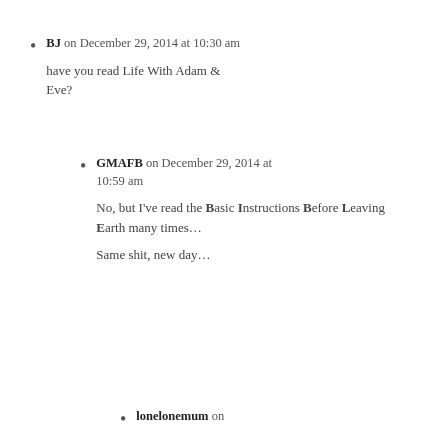BJ on December 29, 2014 at 10:30 am
have you read Life With Adam & Eve?
GMAFB on December 29, 2014 at 10:59 am
No, but I've read the Basic Instructions Before Leaving Earth many times…
Same shit, new day…
lonelonemum on